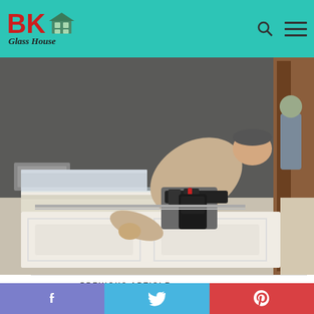BK Glass House
[Figure (photo): A worker in a tool belt and khaki shirt leaning over and installing or handling a white paneled garage door or large door frame in a workshop/garage setting. Another person is visible in the background.]
< PREVIOUS ARTICLE